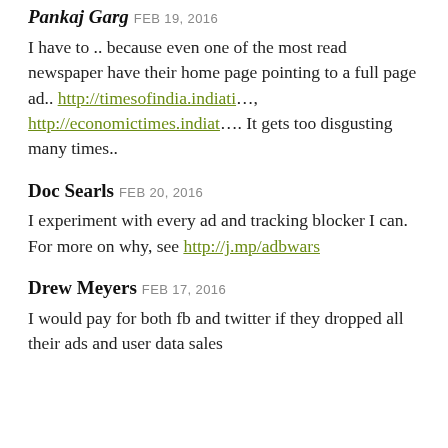Pankaj Garg FEB 19, 2016
I have to .. because even one of the most read newspaper have their home page pointing to a full page ad.. http://timesofindia.indiati…, http://economictimes.indiat…. It gets too disgusting many times..
Doc Searls FEB 20, 2016
I experiment with every ad and tracking blocker I can. For more on why, see http://j.mp/adbwars
Drew Meyers FEB 17, 2016
I would pay for both fb and twitter if they dropped all their ads and user data sales